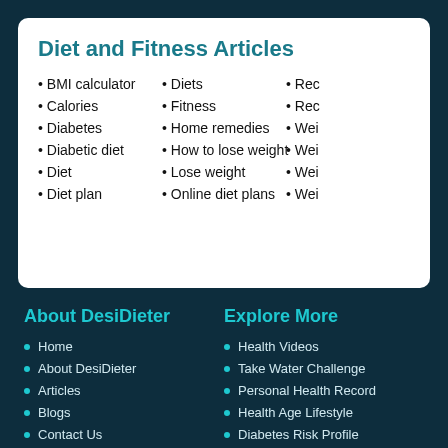Diet and Fitness Articles
BMI calculator
Calories
Diabetes
Diabetic diet
Diet
Diet plan
Diets
Fitness
Home remedies
How to lose weight
Lose weight
Online diet plans
Rec…
Rec…
Wei…
Wei…
Wei…
Wei…
About DesiDieter
Home
About DesiDieter
Articles
Blogs
Contact Us
Feedback
Featured Links
Link Exchange
Explore More
Health Videos
Take Water Challenge
Personal Health Record
Health Age Lifestyle
Diabetes Risk Profile
Food Calorie Finder
Testimonials
Events and Festivals